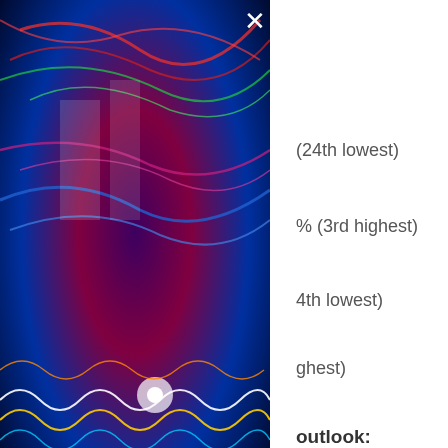[Figure (photo): Colorful neon light trails on dark background, abstract photography]
(24th lowest)
% (3rd highest)
4th lowest)
ghest)
outlook:
[Figure (logo): Putnam Investments logo with scales of justice icon]
ue Fund PEIYX
icial and public
states. One of
n the country
ating™ as of 6/30/22 among 1,145 funds in the djusted returns).